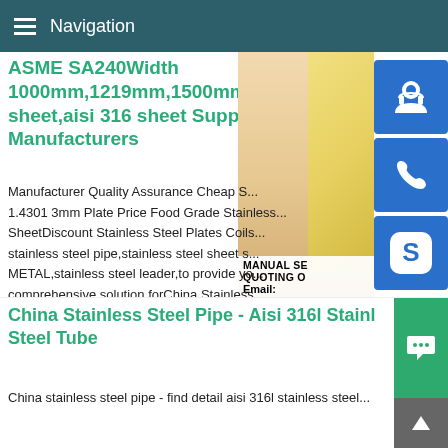Navigation
ASME SA240Width 1000mm,1219mm,1500mm,1 316 sheet,aisi 316 sheet Suppliers, Manufacturers
[Figure (photo): Photo of a woman wearing a headset (customer service representative), with sidebar icons for support, phone, and Skype, and an overlay showing MANUAL SERVICE, QUOTING O..., Email: bsteel1@163.com]
Manufacturer Quality Assurance Cheap S... 1.4301 3mm Plate Price Food Grade Stainless... SheetDiscount Stainless Steel Plates Coils... stainless steel pipe,stainless steel sheet s... METAL,stainless steel leader,to provide you a comprehensive solution forChina Stainless... Stainless Steel TubeChina stainless steel tube - find detail aisi 316l stainless steel tube from fshan vinmay stainless steel ,ltd
China Stainless Steel Pipe - Aisi 316l Stainless Steel Tube
China stainless steel pipe - find detail aisi 316l stainless steel...